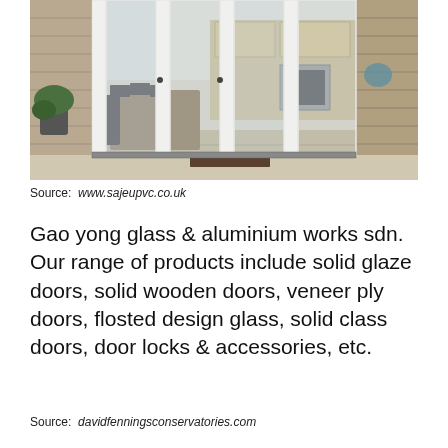[Figure (photo): Photograph of white aluminum bi-fold/sliding glass doors opened outward to a patio, with a dining table and chairs visible inside, kitchen visible through the glass panels, and brick walls on either side.]
Source: www.sajeupvc.co.uk
Gao yong glass & aluminium works sdn. Our range of products include solid glaze doors, solid wooden doors, veneer ply doors, flosted design glass, solid class doors, door locks & accessories, etc.
Source: davidfenningsconservatories.com